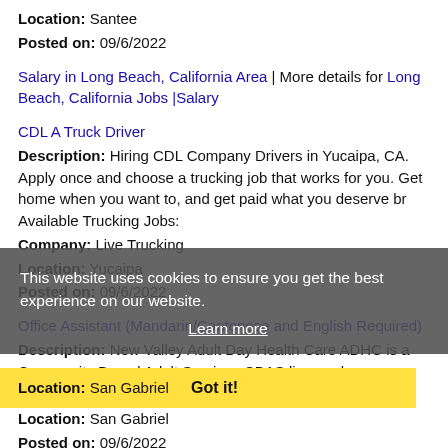Location: Santee
Posted on: 09/6/2022
Salary in Long Beach, California Area | More details for Long Beach, California Jobs |Salary
CDL A Truck Driver
Description: Hiring CDL Company Drivers in Yucaipa, CA. Apply once and choose a trucking job that works for you. Get home when you want to, and get paid what you deserve br Available Trucking Jobs:
Company: Live Trucking
Location: Yucaipa
Posted on: 09/6/2022
Office Assistant (Mandarin/Cantonese and English Required)
Description: New Valley Adult Day Health Care ADHC is a Community Based Adult Services CBAS licensed program
Company: New Valley Adult Day Health Care Center
Location: San Gabriel
Posted on: 09/6/2022
Crew Member - starting at 16.00
This website uses cookies to ensure you get the best experience on our website. Learn more Got it!